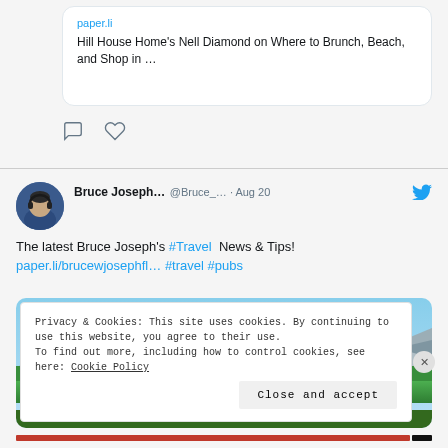[Figure (screenshot): Link card preview showing paper.li domain and article title 'Hill House Home's Nell Diamond on Where to Brunch, Beach, and Shop in ...']
paper.li
Hill House Home's Nell Diamond on Where to Brunch, Beach, and Shop in ...
[Figure (illustration): Comment and like/heart icon buttons]
Bruce Joseph... @Bruce_... · Aug 20
The latest Bruce Joseph's #Travel News & Tips! paper.li/brucewjosephfl... #travel #pubs
[Figure (photo): Golf course landscape with palm trees, mountains in the background, and a water reflection]
Privacy & Cookies: This site uses cookies. By continuing to use this website, you agree to their use.
To find out more, including how to control cookies, see here: Cookie Policy
Close and accept